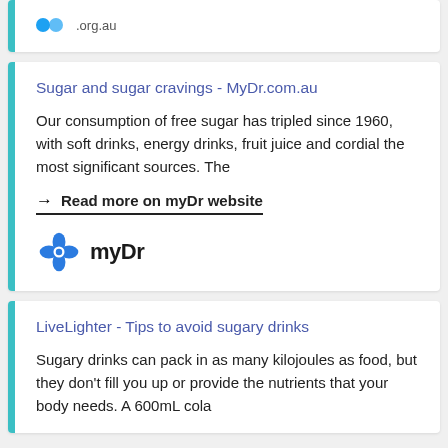[Figure (logo): Partial top card showing social media icon dots and .org.au URL text]
Sugar and sugar cravings - MyDr.com.au
Our consumption of free sugar has tripled since 1960, with soft drinks, energy drinks, fruit juice and cordial the most significant sources. The
→ Read more on myDr website
[Figure (logo): myDr logo with blue pinwheel icon and bold myDr text]
LiveLighter - Tips to avoid sugary drinks
Sugary drinks can pack in as many kilojoules as food, but they don't fill you up or provide the nutrients that your body needs. A 600mL cola